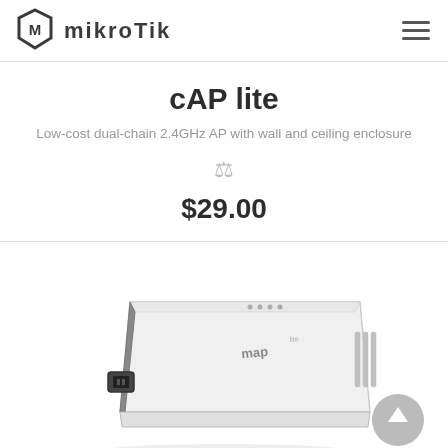[Figure (logo): MikroTik hexagonal logo icon with letter M]
cAP lite
Low-cost dual-chain 2.4GHz AP with wall and ceiling enclosure
$29.00
[Figure (photo): Photo of the MikroTik cAP lite (map lite labeled) device — a small white and grey wireless access point with Ethernet port visible on the front left side]